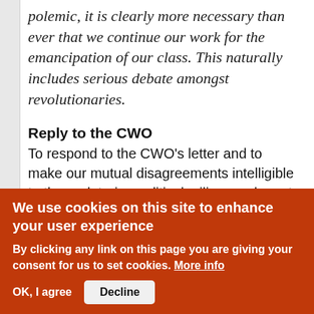polemic, it is clearly more necessary than ever that we continue our work for the emancipation of our class. This naturally includes serious debate amongst revolutionaries.
Reply to the CWO
To respond to the CWO's letter and to make our mutual disagreements intelligible to the proletarian political milieu, we have to go beyond a blow by blow answer to the above rectifications. We don't believe that our polemic was based on factual errors, as we shall show.
We use cookies on this site to enhance your user experience
By clicking any link on this page you are giving your consent for us to set cookies. More info
OK, I agree   Decline